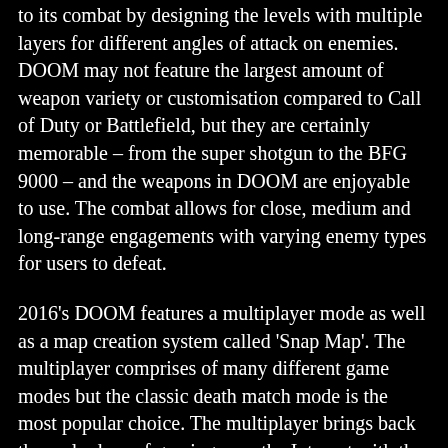to its combat by designing the levels with multiple layers for different angles of attack on enemies. DOOM may not feature the largest amount of weapon variety or customisation compared to Call of Duty or Battlefield, but they are certainly memorable – from the super shotgun to the BFG 9000 – and the weapons in DOOM are enjoyable to use. The combat allows for close, medium and long-range engagements with varying enemy types for users to defeat.
2016's DOOM features a multiplayer mode as well as a map creation system called 'Snap Map'. The multiplayer comprises of many different game modes but the classic death match mode is the most popular choice. The multiplayer brings back the early days of gaming over the Internet with the game feeling like Unreal Tournament from the early